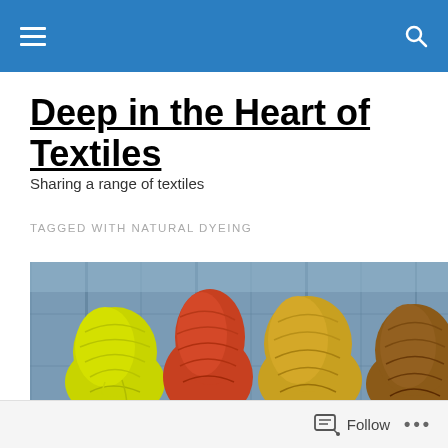Navigation bar with menu and search icons
Deep in the Heart of Textiles
Sharing a range of textiles
TAGGED WITH NATURAL DYEING
[Figure (photo): Four skeins of naturally dyed yarn in yellow-green, orange-red, golden yellow, and brown, hanging against a weathered blue wood fence background.]
Follow   ...